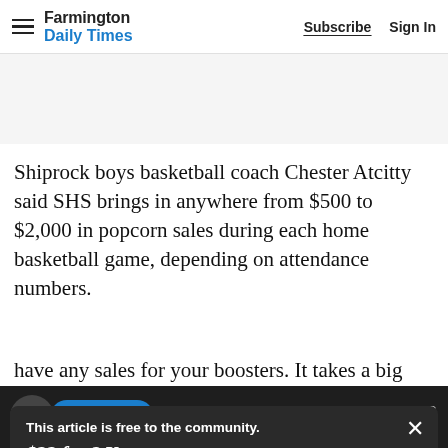Farmington Daily Times — Subscribe | Sign In
Shiprock boys basketball coach Chester Atcitty said SHS brings in anywhere from $500 to $2,000 in popcorn sales during each home basketball game, depending on attendance numbers.
This article is free to the community. $22 for 2 Years. Subscribe now
have any sales for your boosters. It takes a big bite